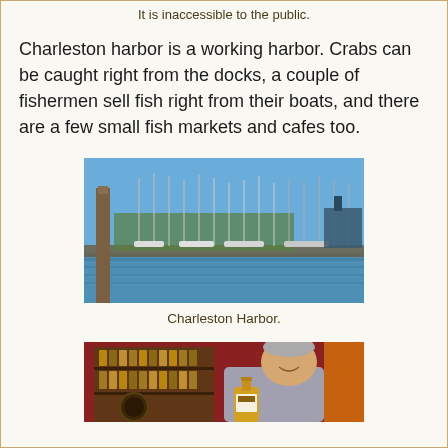It is inaccessible to the public.
Charleston harbor is a working harbor. Crabs can be caught right from the docks, a couple of fishermen sell fish right from their boats, and there are a few small fish markets and cafes too.
[Figure (photo): Photo of Charleston Harbor showing marina with sailboats and fishing vessels moored at docks, calm water with reflections, blue sky, wooden pier post in foreground left.]
Charleston Harbor.
[Figure (photo): Photo of a man smiling and holding a bottle inside what appears to be a shop with wooden shelves stocked with bottles and jars behind him.]